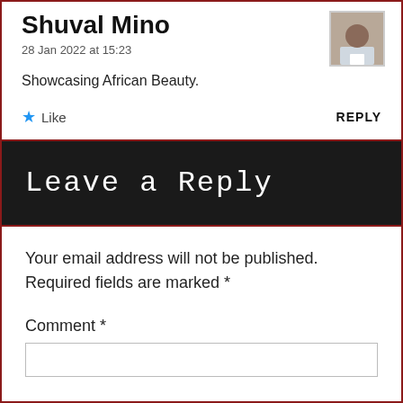Shuval Mino
28 Jan 2022 at 15:23
Showcasing African Beauty.
Like
REPLY
Leave a Reply
Your email address will not be published. Required fields are marked *
Comment *